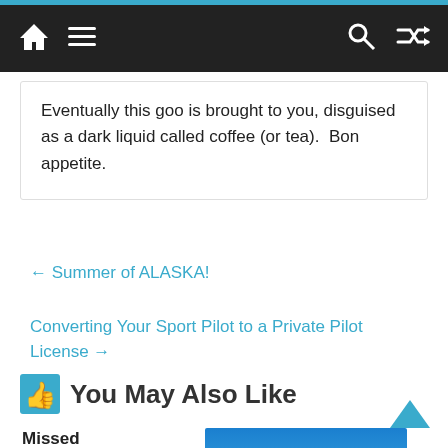Navigation bar with home, menu, search, and shuffle icons
Eventually this goo is brought to you, disguised as a dark liquid called coffee (or tea).  Bon appetite.
← Summer of ALASKA!
Converting Your Sport Pilot to a Private Pilot License →
You May Also Like
Missed Approach Instructions